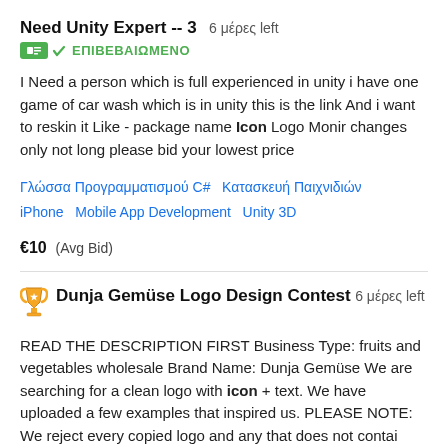Need Unity Expert -- 3   6 μέρες left
ΕΠΙΒΕΒΑΙΩΜΕΝΟ
I Need a person which is full experienced in unity i have one game of car wash which is in unity this is the link And i want to reskin it Like - package name Icon Logo Monir changes only not long please bid your lowest price
Γλώσσα Προγραμματισμού C#   Κατασκευή Παιχνιδιών   iPhone   Mobile App Development   Unity 3D
€10  (Avg Bid)
Dunja Gemüse Logo Design Contest   6 μέρες left
READ THE DESCRIPTION FIRST Business Type: fruits and vegetables wholesale Brand Name: Dunja Gemüse We are searching for a clean logo with icon + text. We have uploaded a few examples that inspired us. PLEASE NOTE: We reject every copied logo and any that does not contai